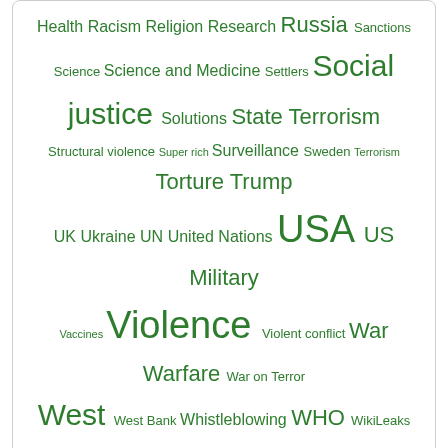[Figure (other): Tag cloud with green keywords of varying sizes including: Health, Racism, Religion, Research, Russia, Sanctions, Science, Science and Medicine, Settlers, Social justice, Solutions, State Terrorism, Structural violence, Super rich, Surveillance, Sweden, Terrorism, Torture, Trump, UK, Ukraine, UN, United Nations, USA, US Military, Vaccines, Violence, Violent conflict, War, Warfare, War on Terror, West, West Bank, Whistleblowing, WHO, WikiLeaks, World, Zionism]
Categories
EDITORIAL
TRANSCEND VIDEOS
FEATURED RESEARCH PAPER
TRANSCEND News
NONVIOLENCE
NEWS
TMS PEACE JOURNALISM
NOBEL LAUREATES
CONFLICT RESOLUTION – MEDIATION
HUMAN RIGHTS